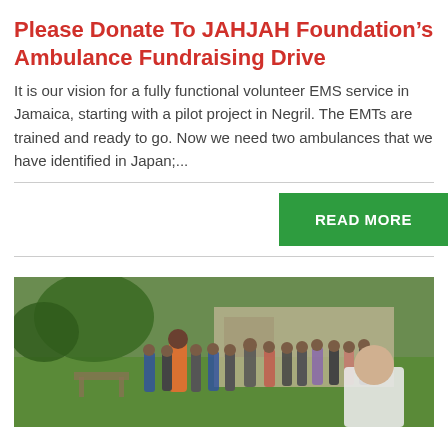[Figure (photo): Narrow strip of a photo at the very top of the page, partially cropped.]
Please Donate To JAHJAH Foundation’s Ambulance Fundraising Drive
It is our vision for a fully functional volunteer EMS service in Jamaica, starting with a pilot project in Negril. The EMTs are trained and ready to go. Now we need two ambulances that we have identified in Japan;...
READ MORE
[Figure (photo): Outdoor group photo showing people standing in a circle on a lawn, with trees and a building in the background. A person in orange and one in white are visible prominently.]